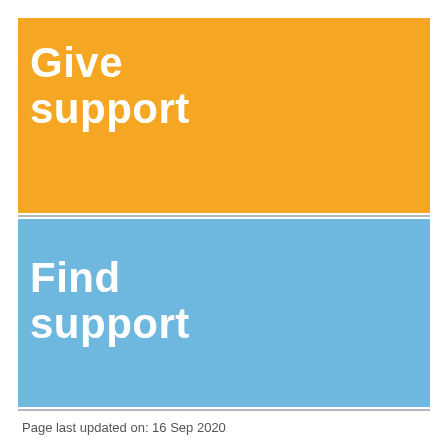Give support
Find support
Page last updated on: 16 Sep 2020